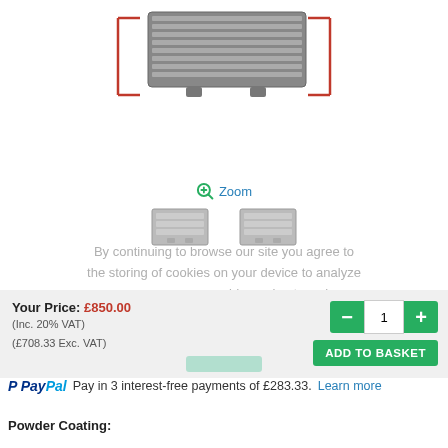[Figure (photo): Product image of an intercooler/radiator unit shown from above with red bracket markers on sides, displayed on white background]
Zoom
[Figure (photo): Two small thumbnail images of the intercooler product from different angles]
By continuing to browse our site you agree to the storing of cookies on your device to analyze usage so we can provide our best service.
Privacy & Cookie Policy
Your Price: £850.00
(Inc. 20% VAT)
(£708.33 Exc. VAT)
1
ADD TO BASKET
Pay in 3 interest-free payments of £283.33. Learn more
Powder Coating: